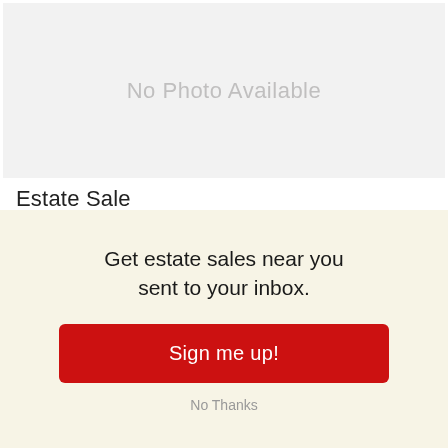[Figure (photo): No Photo Available placeholder image with light gray background]
Estate Sale
Estate Sales by Southern Trading Company, LLC
In-person estate sale
Get estate sales near you sent to your inbox.
Sign me up!
No Thanks